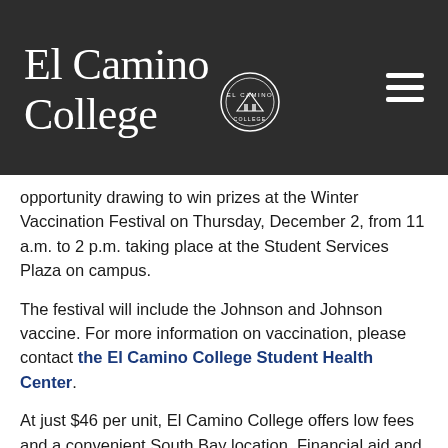El Camino College
opportunity drawing to win prizes at the Winter Vaccination Festival on Thursday, December 2, from 11 a.m. to 2 p.m. taking place at the Student Services Plaza on campus.
The festival will include the Johnson and Johnson vaccine. For more information on vaccination, please contact the El Camino College Student Health Center.
At just $46 per unit, El Camino College offers low fees and a convenient South Bay location. Financial aid and other support services are